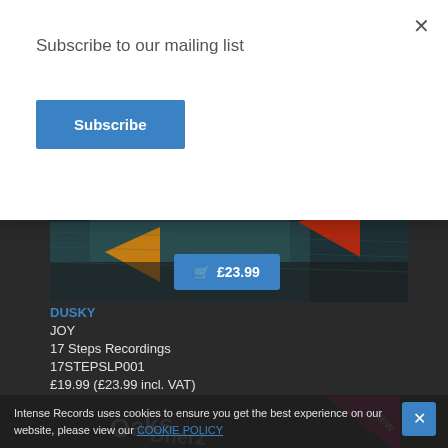Subscribe to our mailing list
Subscribe
[Figure (photo): Album artwork for JOY by Dusky, dark abstract painting with orange, red and teal geometric shapes]
£23.99
DUSKY
JOY
17 Steps Recordings
17STEPSLP001
£19.99 (£23.99 incl. VAT)
[Figure (photo): Album artwork with graffiti style text on dark background, NEW badge overlay]
Intense Records uses cookies to ensure you get the best experience on our website, please view our COOKIE POLICY